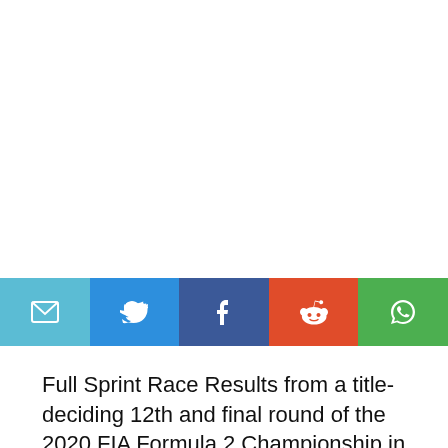[Figure (infographic): Social sharing button bar with five buttons: Email (light blue), Twitter (blue), Facebook (dark blue), Reddit (orange-red), WhatsApp (green)]
Full Sprint Race Results from a title-deciding 12th and final round of the 2020 FIA Formula 2 Championship in Bahrain.
Mick Schumacher was crowned 2020 FIA Formula 2